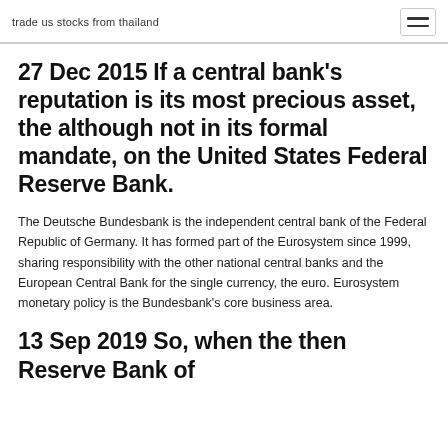trade us stocks from thailand
27 Dec 2015 If a central bank's reputation is its most precious asset, the although not in its formal mandate, on the United States Federal Reserve Bank.
The Deutsche Bundesbank is the independent central bank of the Federal Republic of Germany. It has formed part of the Eurosystem since 1999, sharing responsibility with the other national central banks and the European Central Bank for the single currency, the euro. Eurosystem monetary policy is the Bundesbank’s core business area.
13 Sep 2019 So, when the then Reserve Bank of